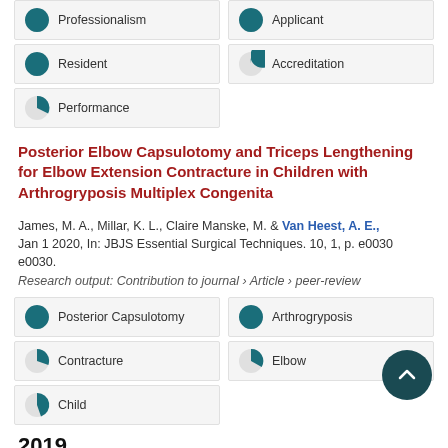[Figure (other): Keyword badges with pie icons for Professionalism (~100%), Applicant (~100%), Resident (~100%), Accreditation (~65%), Performance (~50%)]
Posterior Elbow Capsulotomy and Triceps Lengthening for Elbow Extension Contracture in Children with Arthrogryposis Multiplex Congenita
James, M. A., Millar, K. L., Claire Manske, M. & Van Heest, A. E., Jan 1 2020, In: JBJS Essential Surgical Techniques. 10, 1, p. e0030 e0030.
Research output: Contribution to journal › Article › peer-review
[Figure (other): Keyword badges with pie icons: Posterior Capsulotomy (~100%), Arthrogryposis (~100%), Contracture (~70%), Elbow (~65%), Child (~25%)]
2019